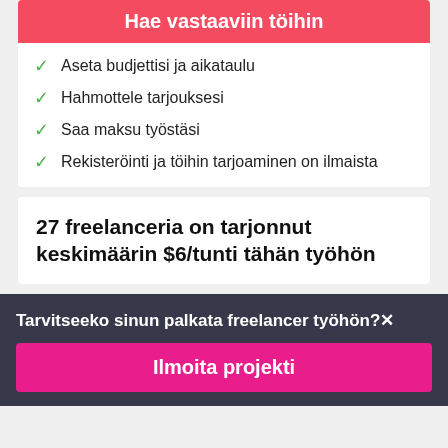Hae vastaaviin töihin
Aseta budjettisi ja aikataulu
Hahmottele tarjouksesi
Saa maksu työstäsi
Rekisteröinti ja töihin tarjoaminen on ilmaista
27 freelanceria on tarjonnut keskimäärin $6/tunti tähän työhön
Tarvitseeko sinun palkata freelancer työhön?
Ilmoita projekti